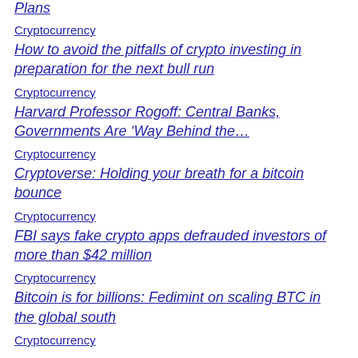Plans
Cryptocurrency
How to avoid the pitfalls of crypto investing in preparation for the next bull run
Cryptocurrency
Harvard Professor Rogoff: Central Banks, Governments Are ‘Way Behind the…
Cryptocurrency
Cryptoverse: Holding your breath for a bitcoin bounce
Cryptocurrency
FBI says fake crypto apps defrauded investors of more than $42 million
Cryptocurrency
Bitcoin is for billions: Fedimint on scaling BTC in the global south
Cryptocurrency